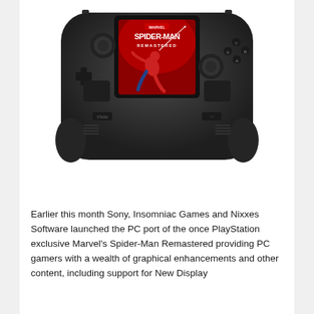[Figure (photo): A Steam Deck handheld gaming device displaying Marvel's Spider-Man Remastered on its screen. The device is dark grey/black with joysticks, buttons, and a D-pad. The screen shows the game's title card with Spider-Man in his red and blue suit swinging on a red background.]
Earlier this month Sony, Insomniac Games and Nixxes Software launched the PC port of the once PlayStation exclusive Marvel's Spider-Man Remastered providing PC gamers with a wealth of graphical enhancements and other content, including support for New Display